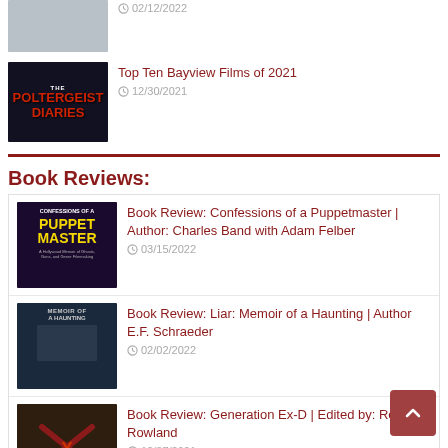02/12/2022
Top Ten Bayview Films of 2021 | 12/30/2021
Book Reviews:
Book Review: Confessions of a Puppetmaster | Author: Charles Band with Adam Felber | 03/15/2022
Book Review: Liar: Memoir of a Haunting | Author E.F. Schraeder | 02/02/2022
Book Review: Generation Ex-D | Edited by: Rebecca Rowland | 12/07/2021